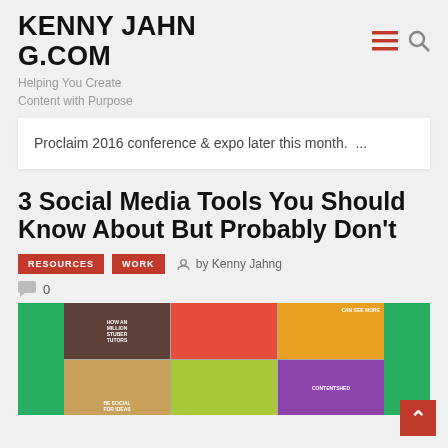KENNYJAHNG.COM
Helping You Create Content with Purpose
Proclaim 2016 conference & expo later this month.  ...
3 Social Media Tools You Should Know About But Probably Don't
RESOURCES  WORK  by Kenny Jahng
0
[Figure (photo): Article thumbnail image with green side panels and a grid of colorful social media related images]